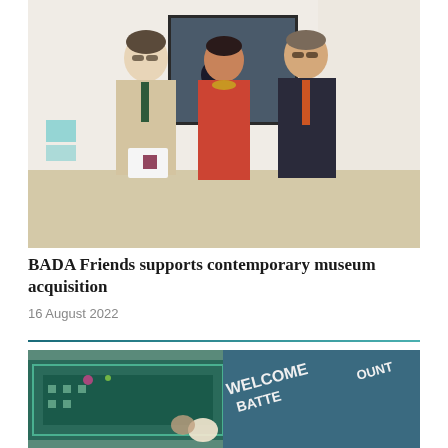[Figure (photo): Three people standing in an art gallery. On the left, a man in a beige/cream suit holding a white box with a BADA logo. In the center, a woman in a red/orange dress wearing a statement necklace. On the right, a man in a dark suit with an orange tie. Behind them is a large framed photograph on the gallery wall.]
BADA Friends supports contemporary museum acquisition
16 August 2022
[Figure (photo): Close-up of decorative textiles and embroidered fabrics in teal/green tones with geometric patterns, along with text reading 'WELCOME' and 'BATTE' and 'VICEROY GENERAL OF INDIA' partially visible. Small decorative objects are also visible.]